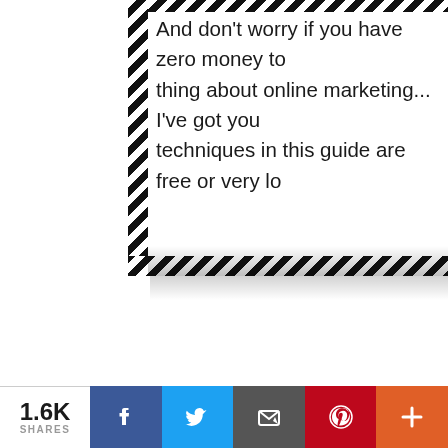And don't worry if you have zero money to... thing about online marketing... I've got you... techniques in this guide are free or very lo...
[Figure (illustration): Partially visible diagonal-stripe bordered content box with shadow, containing truncated marketing text]
[Figure (illustration): Second diagonal-stripe bordered box with green star rating icons and large green bold italic 'BONUS #' heading, with a photo of hands holding US dollar bills on yellow background, and body text starting 'I'll give you my 1... genera... ste... cash-i... ro... automa...']
I'll give you my 1... genera... ste... cash-i... ro... automa...
[Figure (photo): Photo of a hand holding US dollar bills against a yellow/orange background]
[Figure (other): Blue circular chat bubble icon button overlay]
1.6K SHARES | Facebook | Twitter | Email | Pinterest | More